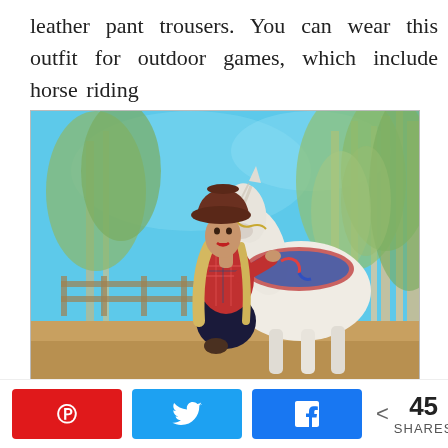leather pant trousers. You can wear this outfit for outdoor games, which include horse riding
[Figure (photo): A woman wearing a cowboy hat, red plaid shirt, and dark leather pants, posing with a white horse in an outdoor ranch setting with trees and blue sky in the background.]
Pinterest share button, Twitter share button, Facebook share button, < 45 SHARES